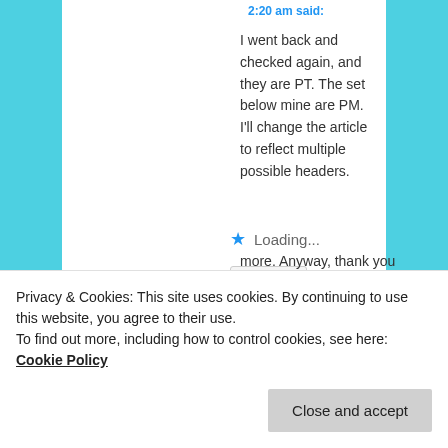2:20 am said:
I went back and checked again, and they are PT. The set below mine are PM. I'll change the article to reflect multiple possible headers.
Loading...
Reply ↓
robertajestes
on May 10, 2016 at
more. Anyway, thank you
Privacy & Cookies: This site uses cookies. By continuing to use this website, you agree to their use.
To find out more, including how to control cookies, see here: Cookie Policy
Close and accept